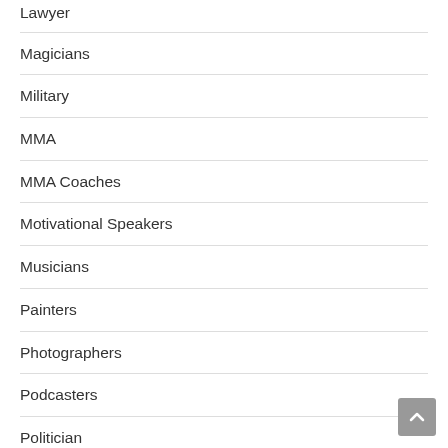Lawyer
Magicians
Military
MMA
MMA Coaches
Motivational Speakers
Musicians
Painters
Photographers
Podcasters
Politician
Powerlifters
Racer